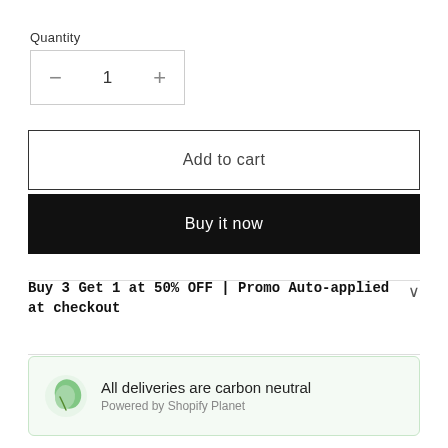Quantity
— 1 +
Add to cart
Buy it now
Buy 3 Get 1 at 50% OFF | Promo Auto-applied at checkout
All deliveries are carbon neutral
Powered by Shopify Planet